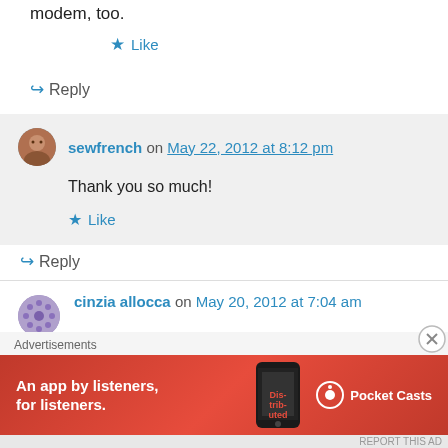modem, too.
★ Like
↪ Reply
sewfrench on May 22, 2012 at 8:12 pm
Thank you so much!
★ Like
↪ Reply
cinzia allocca on May 20, 2012 at 7:04 am
[Figure (screenshot): Pocket Casts advertisement banner: red background, text 'An app by listeners, for listeners.' with phone image and Pocket Casts logo]
Advertisements